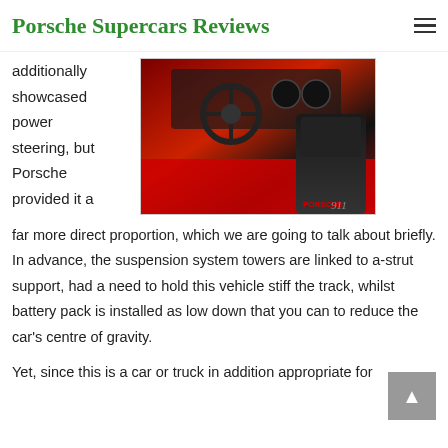Porsche Supercars Reviews
additionally showcased power steering, but Porsche provided it a
[Figure (photo): Interior photo of a Porsche 911 with red accents, showing the steering wheel, dashboard, and racing seats]
far more direct proportion, which we are going to talk about briefly. In advance, the suspension system towers are linked to a-strut support, had a need to hold this vehicle stiff the track, whilst battery pack is installed as low down that you can to reduce the car's centre of gravity.
Yet, since this is a car or truck in addition appropriate for